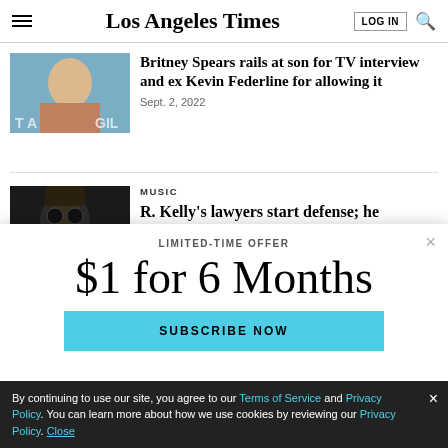Los Angeles Times
Britney Spears rails at son for TV interview and ex Kevin Federline for allowing it
Sept. 2, 2022
MUSIC
R. Kelly's lawyers start defense; he
LIMITED-TIME OFFER
$1 for 6 Months
SUBSCRIBE NOW
By continuing to use our site, you agree to our Terms of Service and Privacy Policy. You can learn more about how we use cookies by reviewing our Privacy Policy. Close